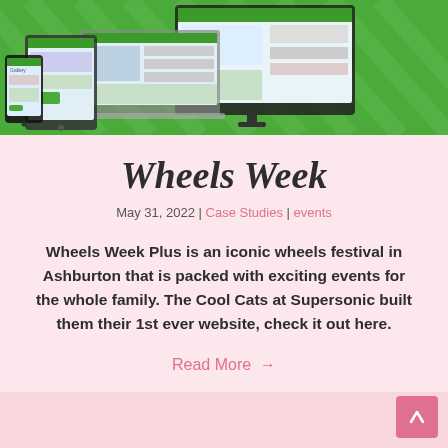[Figure (screenshot): Hero image showing a website displayed on multiple devices (desktop monitor, laptop, tablet, and smartphone) against a green background with diagonal stripe pattern. The website appears to be a Wheels Week event site.]
Wheels Week
May 31, 2022 | Case Studies | events
Wheels Week Plus is an iconic wheels festival in Ashburton that is packed with exciting events for the whole family. The Cool Cats at Supersonic built them their 1st ever website, check it out here.
Read More →